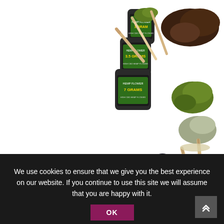[Figure (photo): Hemp flower and CBD products displayed on white background: three stacked glass jars labeled Hemp Flower (1 gram, 3.5 grams, 7 grams), three small dark tins labeled CBD Kief, CBD Hash, and CBD, two black tube vials labeled Whole Organik Hybrid Blend CBD:CBG 1:1 and Whole Organik Hybrid Caviar 500mg, several pre-rolled joints, and loose hemp flower buds in various colors scattered around the products.]
We use cookies to ensure that we give you the best experience on our website. If you continue to use this site we will assume that you are happy with it.